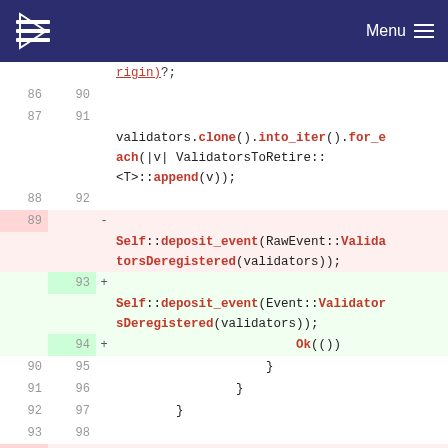[Figure (screenshot): Navigation bar with logo and Menu button]
Code diff view showing Rust source code changes. Lines 86-95 shown with old and new line numbers, diff markers, and syntax-highlighted code.